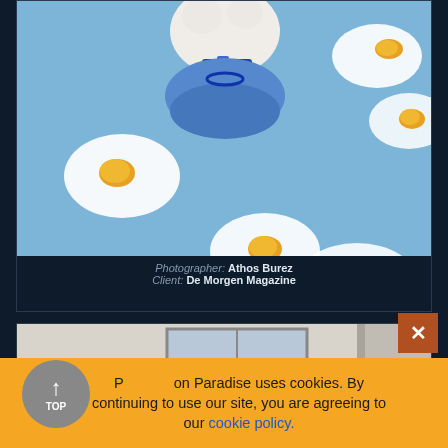[Figure (photo): Photograph of fried eggs arranged on a blue background with a small white fluffy animal wearing a blue jeweled bracelet and blue outfit in the center]
Photographer: Athos Burez  Client: De Morgen Magazine
[Figure (photo): Partially visible photograph of an interior room with light-colored walls and a door]
P on Paradise uses cookies. By continuing to use our site, you are agreeing to our cookie policy.